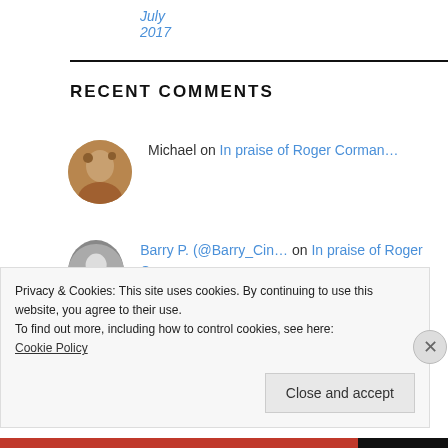July 2017
RECENT COMMENTS
Michael on In praise of Roger Corman…
Barry P. (@Barry_Cin… on In praise of Roger Corman…
The Classic Movie Mu… on The joys of
Privacy & Cookies: This site uses cookies. By continuing to use this website, you agree to their use.
To find out more, including how to control cookies, see here:
Cookie Policy
Close and accept